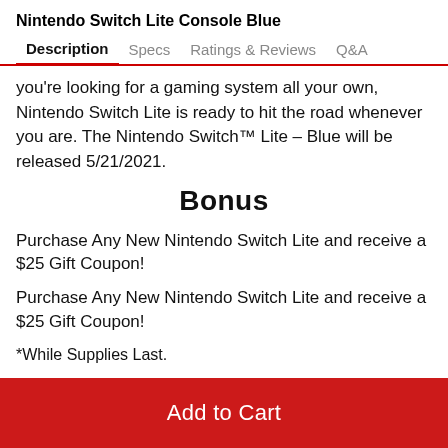Nintendo Switch Lite Console Blue
Description | Specs | Ratings & Reviews | Q&A
you're looking for a gaming system all your own, Nintendo Switch Lite is ready to hit the road whenever you are. The Nintendo Switch™ Lite – Blue will be released 5/21/2021.
Bonus
Purchase Any New Nintendo Switch Lite and receive a $25 Gift Coupon!
Purchase Any New Nintendo Switch Lite and receive a $25 Gift Coupon!
*While Supplies Last.
Add to Cart